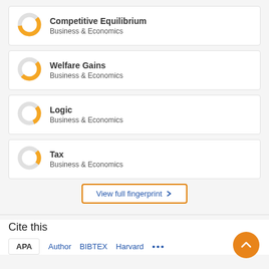[Figure (donut-chart): Donut chart showing partial fill in orange for Competitive Equilibrium, Business & Economics]
Competitive Equilibrium
Business & Economics
[Figure (donut-chart): Donut chart showing partial fill in orange for Welfare Gains, Business & Economics]
Welfare Gains
Business & Economics
[Figure (donut-chart): Donut chart showing smaller partial fill in orange for Logic, Business & Economics]
Logic
Business & Economics
[Figure (donut-chart): Donut chart showing small partial fill in orange for Tax, Business & Economics]
Tax
Business & Economics
View full fingerprint >
Cite this
APA  Author  BIBTEX  Harvard  ...